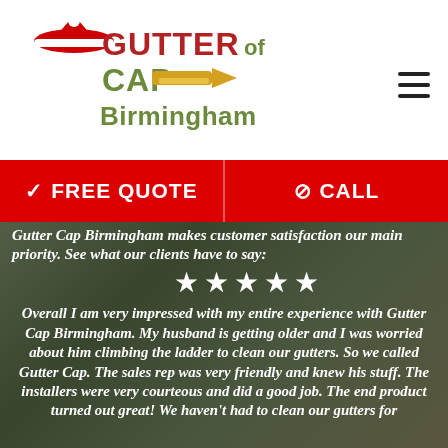[Figure (logo): Gutter Cap of Birmingham logo with Santa hat, text 'GUTTER CAP of Birmingham' in stylized red/olive/gold colors with rocket or gutter graphic]
FREE QUOTE
CALL
Gutter Cap Birmingham makes customer satisfaction our main priority. See what our clients have to say:
★★★★★
Overall I am very impressed with my entire experience with Gutter Cap Birmingham. My husband is getting older and I was worried about him climbing the ladder to clean our gutters. So we called Gutter Cap. The sales rep was very friendly and knew his stuff. The installers were very courteous and did a good job. The end product turned out great! We haven't had to clean our gutters for